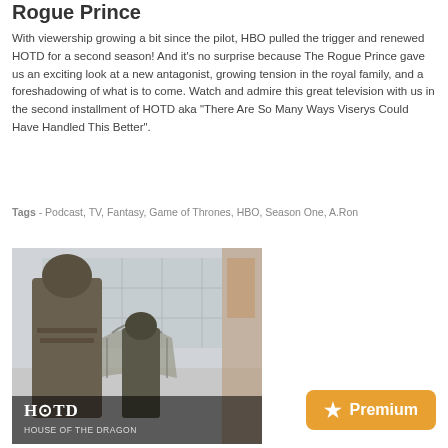Rogue Prince
With viewership growing a bit since the pilot, HBO pulled the trigger and renewed HOTD for a second season! And it’s no surprise because The Rogue Prince gave us an exciting look at a new antagonist, growing tension in the royal family, and a foreshadowing of what is to come. Watch and admire this great television with us in the second installment of HOTD aka “There Are So Many Ways Viserys Could Have Handled This Better”.
Tags - Podcast, TV, Fantasy, Game of Thrones, HBO, Season One, A.Ron
[Figure (photo): Promotional image for House of the Dragon (HOTD) showing two armored characters near the Iron Throne, with 'HOTD HOUSE OF THE DRAGON' text overlay and a gold 'Premium' badge with a star icon.]